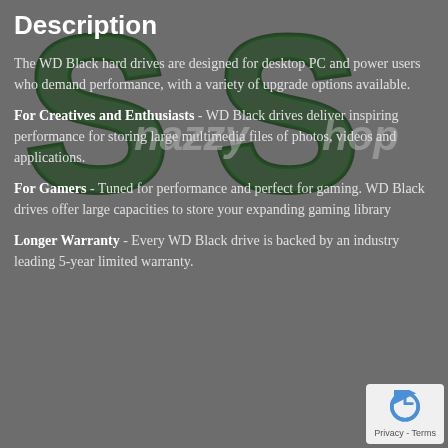Description
The WD Black hard drives are designed for desktop PC and power users who demand performance, with a variety of upgrade options available.
For Creatives and Enthusiasts - WD Black drives deliver inspiring performance for storing large multimedia files of photos, videos and applications.
For Gamers - Tuned for performance and perfect for gaming. WD Black drives offer large capacities to store your expanding gaming library
Longer Warranty - Every WD Black drive is backed by an industry leading 5-year limited warranty.